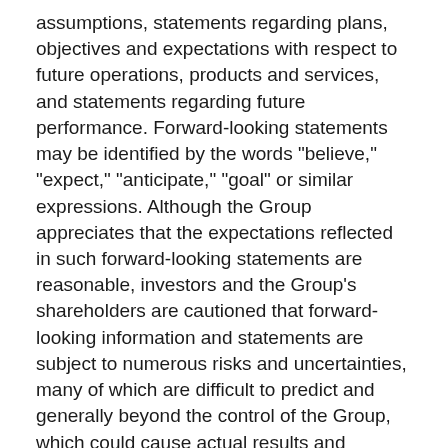assumptions, statements regarding plans, objectives and expectations with respect to future operations, products and services, and statements regarding future performance. Forward-looking statements may be identified by the words "believe," "expect," "anticipate," "goal" or similar expressions. Although the Group appreciates that the expectations reflected in such forward-looking statements are reasonable, investors and the Group's shareholders are cautioned that forward-looking information and statements are subject to numerous risks and uncertainties, many of which are difficult to predict and generally beyond the control of the Group, which could cause actual results and developments to differ materially and adversely from those expressed in, or implied or projected by, the forward-looking information and statements. These risks and uncertainties include those discussed or identified in filings with the